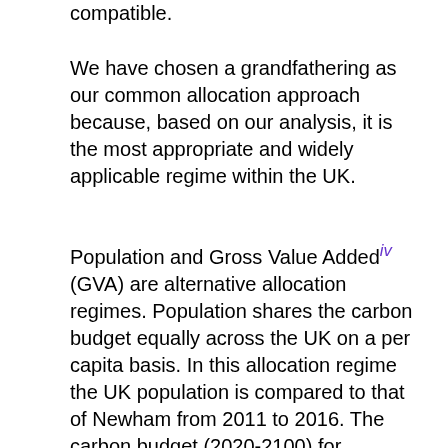compatible.
We have chosen a grandfathering as our common allocation approach because, based on our analysis, it is the most appropriate and widely applicable regime within the UK.
Population and Gross Value Addediv (GVA) are alternative allocation regimes. Population shares the carbon budget equally across the UK on a per capita basis. In this allocation regime the UK population is compared to that of Newham from 2011 to 2016. The carbon budget (2020-2100) for Newham is then apportioned based on its average proportion of the UK population for the period 2011-2016. For regions where per capita energy demand deviates significantly from the average (e.g. a large energy intensive industry